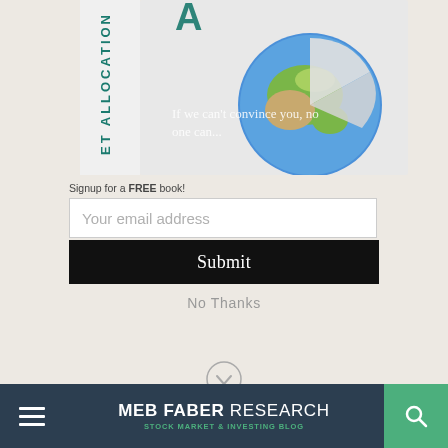[Figure (illustration): Book cover showing 'Asset Allocation' title with a globe/pie chart image and text 'If we can't convince you, no one can']
Signup for a FREE book!
Your email address
Submit
No Thanks
[Figure (other): Down arrow chevron icon in a circle]
MEB FABER RESEARCH STOCK MARKET & INVESTING BLOG